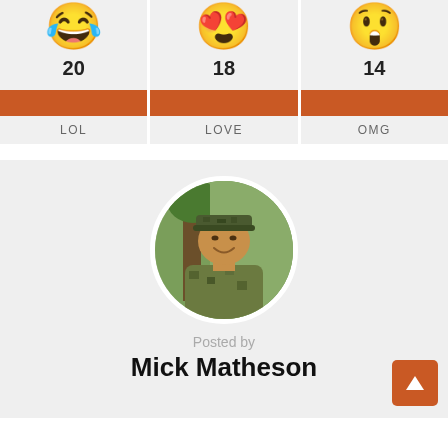[Figure (infographic): Three emoji reaction cards side by side: LOL (crying laughing emoji, count 20), LOVE (heart eyes emoji, count 18), OMG (shocked face emoji, count 14), each with an orange bar and label]
[Figure (photo): Circular avatar photo of a middle-aged man in camouflage hunting gear and cap, smiling, standing in a wooded outdoor setting]
Posted by
Mick Matheson